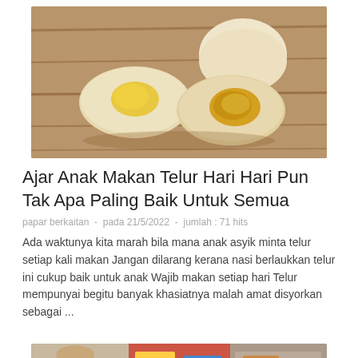[Figure (photo): Photo of boiled eggs on a wooden surface — two halved eggs showing yolk and one whole egg]
Ajar Anak Makan Telur Hari Hari Pun Tak Apa Paling Baik Untuk Semua
papar berkaitan  -  pada 21/5/2022  -  jumlah : 71 hits
Ada waktunya kita marah bila mana anak asyik minta telur setiap kali makan Jangan dilarang kerana nasi berlaukkan telur ini cukup baik untuk anak Wajib makan setiap hari Telur mempunyai begitu banyak khasiatnya malah amat disyorkan sebagai ...
[Figure (photo): Composite photo showing a woman with glasses and hijab, a colorful product display, and another scene]